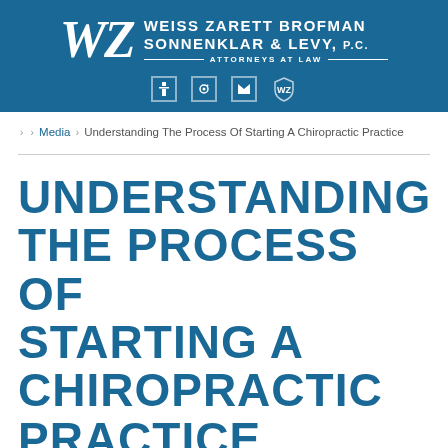[Figure (logo): Weiss Zarett Brofman Sonnenklar & Levy, P.C. law firm logo with WZ initials and social media icons on blue background]
Home › Media › Understanding The Process Of Starting A Chiropractic Practice
UNDERSTANDING THE PROCESS OF STARTING A CHIROPRACTIC PRACTICE
POSTED ON NOVEMBER 30, 2011